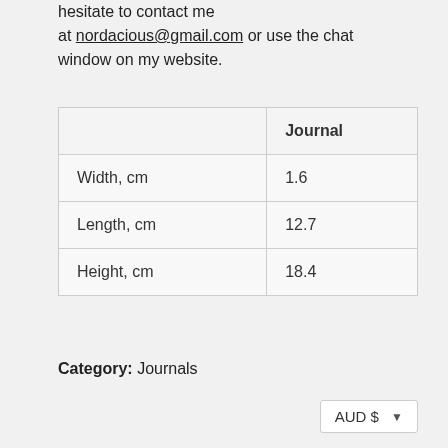hesitate to contact me at nordacious@gmail.com or use the chat window on my website.
|  | Journal |
| --- | --- |
| Width, cm | 1.6 |
| Length, cm | 12.7 |
| Height, cm | 18.4 |
Category: Journals
AUD $